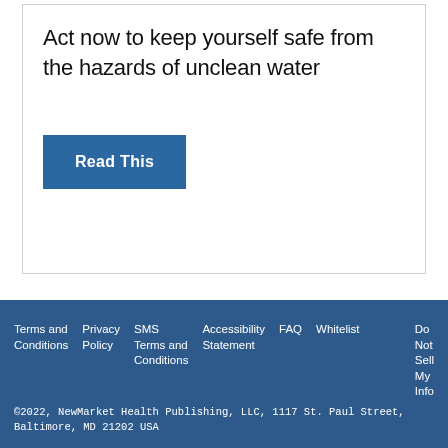Act now to keep yourself safe from the hazards of unclean water
Read This
Terms and Conditions  Privacy Policy  SMS Terms and Conditions  Accessibility Statement  FAQ  Whitelist  Do Not Sell My Info
©2022, NewMarket Health Publishing, LLC, 1117 St. Paul Street, Baltimore, MD 21202 USA